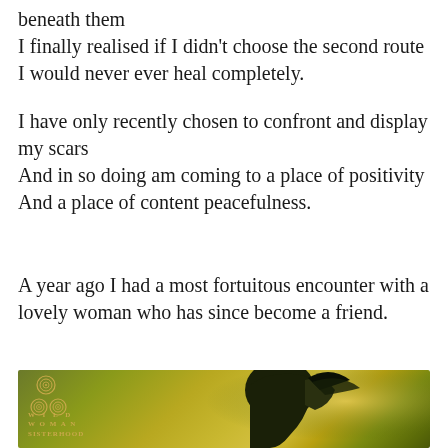beneath them
I finally realised if I didn't choose the second route I would never ever heal completely.
I have only recently chosen to confront and display my scars
And in so doing am coming to a place of positivity
And a place of content peacefulness.
A year ago I had a most fortuitous encounter with a lovely woman who has since become a friend.
[Figure (photo): Wild Woman Sisterhood logo and image showing a woman's silhouette from behind with dark hair against a golden-green artistic background. Logo shows spiral symbols and text 'WILD WOMAN SISTERHOOD'.]